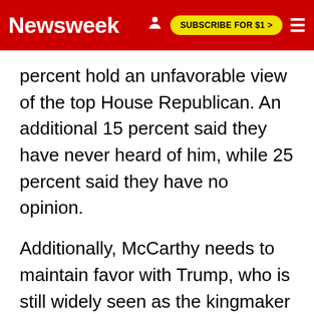Newsweek | SUBSCRIBE FOR $1 >
percent hold an unfavorable view of the top House Republican. An additional 15 percent said they have never heard of him, while 25 percent said they have no opinion.
Additionally, McCarthy needs to maintain favor with Trump, who is still widely seen as the kingmaker within the GOP. Recent polls suggest that a significant majority of Republican voters view Trump as the leader of their party, with a majority appearing to be more loyal to the former president than to the